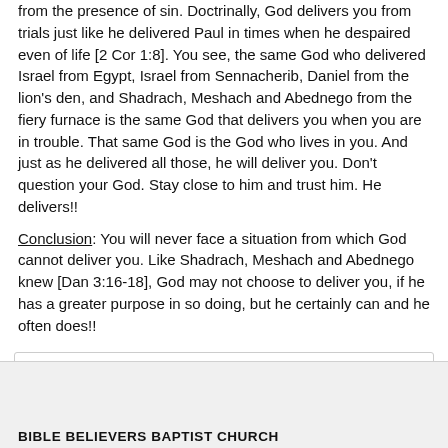from the presence of sin.  Doctrinally, God delivers you from trials just like he delivered Paul in times when he despaired even of life [2 Cor 1:8].  You see, the same God who delivered Israel from Egypt, Israel from Sennacherib, Daniel from the lion's den, and Shadrach, Meshach and Abednego from the fiery furnace is the same God that delivers you when you are in trouble.  That same God is the God who lives in you.  And just as he delivered all those, he will deliver you.  Don't question your God.  Stay close to him and trust him.  He delivers!!
Conclusion: You will never face a situation from which God cannot deliver you.  Like Shadrach, Meshach and Abednego knew [Dan 3:16-18], God may not choose to deliver you, if he has a greater purpose in so doing, but he certainly can and he often does!!
Tags: Darius, Deliverance, deliverer, Nebuchadnezzar, Pharaoh, Sennacherib
BIBLE BELIEVERS BAPTIST CHURCH